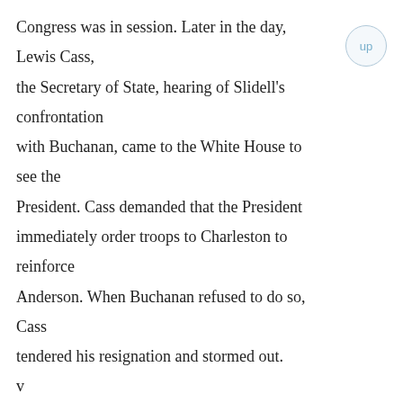Congress was in session. Later in the day, Lewis Cass, the Secretary of State, hearing of Slidell's confrontation with Buchanan, came to the White House to see the President. Cass demanded that the President immediately order troops to Charleston to reinforce Anderson. When Buchanan refused to do so, Cass tendered his resignation and stormed out.

At the other end of Pennsylvania Avenue events were just as chaotic. In the House, the Republican congressmen were in a panic over the looming reality of disunion. Suddenly, who was right and who was wrong on the slavery question meant nothing to them. John
v